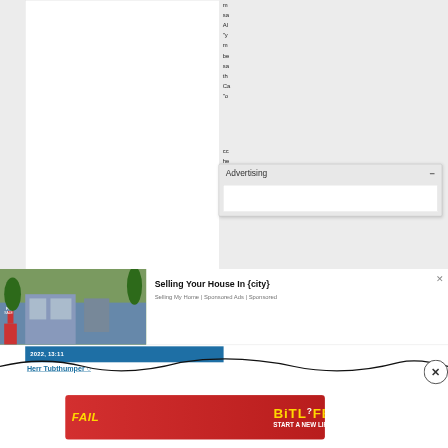[Figure (screenshot): Screenshot of a webpage showing truncated text lines on a grey background with white content panel, an 'Advertising' collapsible panel overlay, a 'Selling Your House In {city}' sponsored ad with house photo, a blue timestamp bar, a user link 'Herr Tubthumper', a wavy black decorative line with circle-X button, and a BitLife banner advertisement at the bottom.]